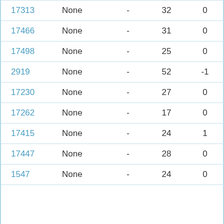| ID | Type | - | Col4 | Col5 | Status |
| --- | --- | --- | --- | --- | --- |
| 17313 | None | - | 32 | 0 | Manual |
| 17466 | None | - | 31 | 0 | Manual |
| 17498 | None | - | 25 | 0 | Manual |
| 2919 | None | - | 52 | -1 | Manual |
| 17230 | None | - | 27 | 0 | Manual |
| 17262 | None | - | 17 | 0 | Manual |
| 17415 | None | - | 24 | 1 | Manual |
| 17447 | None | - | 28 | 0 | Manual |
| 1547 | None | - | 24 | 0 | Manual* |